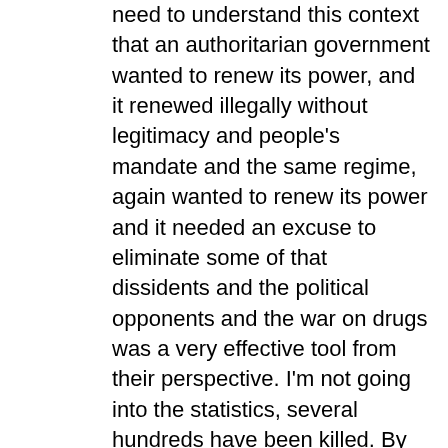need to understand this context that an authoritarian government wanted to renew its power, and it renewed illegally without legitimacy and people's mandate and the same regime, again wanted to renew its power and it needed an excuse to eliminate some of that dissidents and the political opponents and the war on drugs was a very effective tool from their perspective. I'm not going into the statistics, several hundreds have been killed. By all forces it involves rapid action battalion it involves Bangladesh border guards, and then it also involves the regular police force and different units of the police. Also the military, so all the security apparatus of the country are involved directly in this process of war on drugs. So in this context, the victims are, of